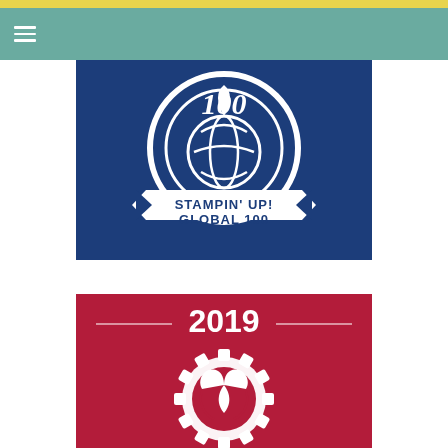[Figure (logo): Stampin' Up! Global 100 badge logo on blue background. A circular emblem with a globe/stamp design, large '100' text at the top, and a white ribbon banner at the bottom reading STAMPIN' UP! GLOBAL 100.]
[Figure (logo): 2019 award badge on dark red/crimson background. White text '2019' centered at the top with decorative horizontal lines. Below is a white silhouette of hands forming a heart shape inside a gear/badge outline.]